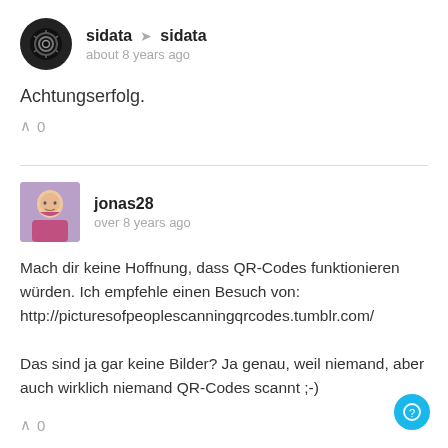sidata → sidata
about 8 years ago
Achtungserfolg.
∧ 0
jonas28
over 8 years ago
Mach dir keine Hoffnung, dass QR-Codes funktionieren würden. Ich empfehle einen Besuch von: http://picturesofpeoplescanningqrcodes.tumblr.com/

Das sind ja gar keine Bilder? Ja genau, weil niemand, aber auch wirklich niemand QR-Codes scannt ;-)
∧ 0